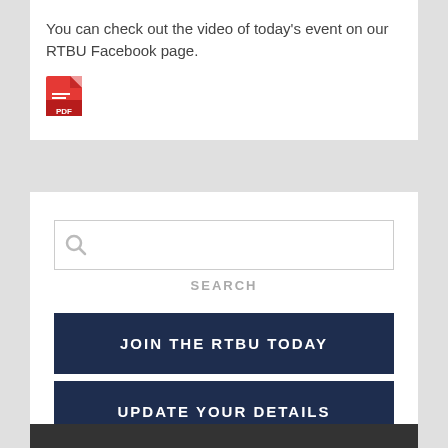You can check out the video of today's event on our RTBU Facebook page.
[Figure (other): PDF file icon (red Adobe PDF icon)]
[Figure (other): Search input box with magnifying glass icon and SEARCH button below]
JOIN THE RTBU TODAY
UPDATE YOUR DETAILS
RETIRED MEMBERS
[Figure (other): Back to top button with yellow upward arrow on grey background]